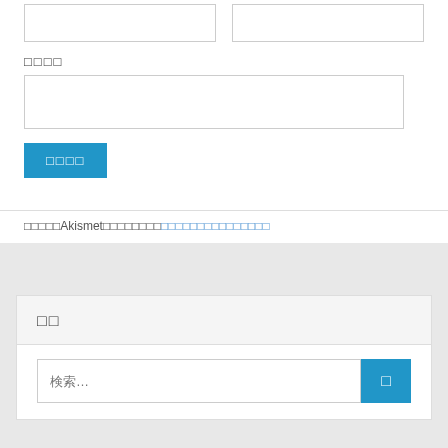[Figure (screenshot): Two empty white input boxes side by side at the top of a form]
□□□□
[Figure (screenshot): Wide white input box for a form field]
[Figure (screenshot): Blue submit button with Japanese text □□□□]
□□□□□Akismet□□□□□□□□□□□□□□□□□□□□□
□□
検索…